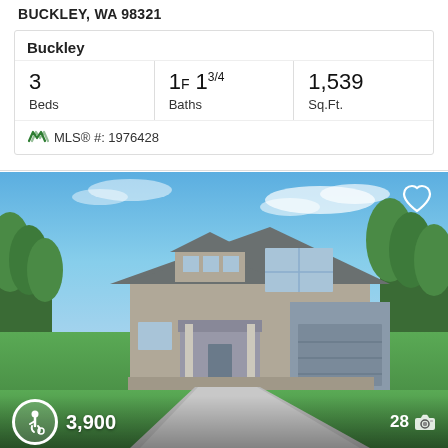BUCKLEY, WA 98321
Buckley
| Beds | Baths | Sq.Ft. |
| --- | --- | --- |
| 3 | 1F 13/4 | 1,539 |
MLS® #: 1976428
[Figure (photo): Two-story craftsman-style house with gray siding, two-car garage, covered entry porch, set on a green lawn with trees in background and concrete driveway. Blue sky with light clouds.]
3,900
28